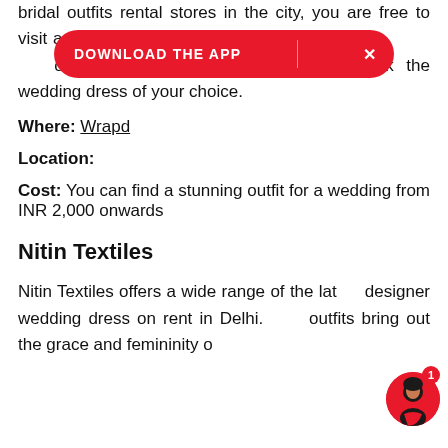bridal outfits rental stores in the city, you are free to visit and checkout their website and collection to book the wedding dress of your choice.
[Figure (other): Red pill-shaped download app banner overlay with text 'DOWNLOAD THE APP' and an X close button]
Where: Wrapd
Location:
Cost: You can find a stunning outfit for a wedding from INR 2,000 onwards
Nitin Textiles
Nitin Textiles offers a wide range of the latest designer wedding dress on rent in Delhi. Their outfits bring out the grace and femininity of a